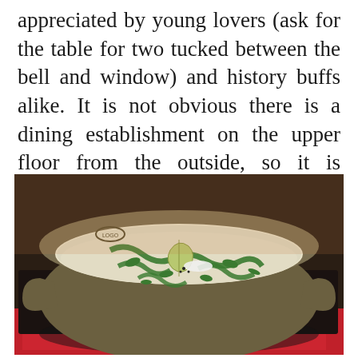appreciated by young lovers (ask for the table for two tucked between the bell and window) and history buffs alike. It is not obvious there is a dining establishment on the upper floor from the outside, so it is frequented mainly by locals. Though it is located in a tourist area, people just walk right by.
[Figure (photo): A ceramic bowl of creamy soup garnished with green herb sauce swirls and a piece of vegetable, placed on a dark tray with a red napkin underneath.]